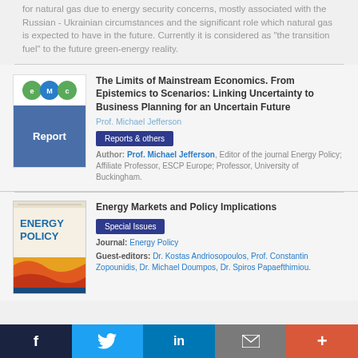for natural gas due to energy security concerns, mostly associated with the Russian - Ukrainian circumstances and the significant role which natural gas is expected to have in the future. Currently it is considered as "the transition fuel" to the future green-energy reality.
[Figure (logo): EMC logo with green circles, blue background with 'Report' label]
The Limits of Mainstream Economics. From Epistemics to Scenarios: Linking Uncertainty to Business Planning for an Uncertain Future
Prof. Michael Jefferson
Reports & others
Author: Prof. Michael Jefferson, Editor of the journal Energy Policy; Affiliate Professor, ESCP Europe; Professor, University of Buckingham.
[Figure (photo): Energy Policy journal cover — yellow/orange/red wave design with blue 'ENERGY POLICY' text]
Energy Markets and Policy Implications
Special Issues
Journal: Energy Policy
Guest-editors: Dr. Kostas Andriosopoulos, Prof. Constantin Zopounidis, Dr. Michael Doumpos, Dr. Spiros Papaefthimiou.
f  Twitter  in  Email  +